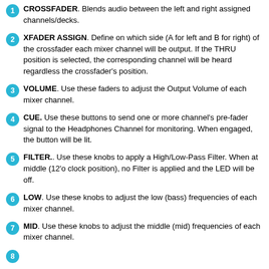1 CROSSFADER. Blends audio between the left and right assigned channels/decks.
2 XFADER ASSIGN. Define on which side (A for left and B for right) of the crossfader each mixer channel will be output. If the THRU position is selected, the corresponding channel will be heard regardless the crossfader's position.
3 VOLUME. Use these faders to adjust the Output Volume of each mixer channel.
4 CUE. Use these buttons to send one or more channel's pre-fader signal to the Headphones Channel for monitoring. When engaged, the button will be lit.
5 FILTER.. Use these knobs to apply a High/Low-Pass Filter. When at middle (12'o clock position), no Filter is applied and the LED will be off.
6 LOW. Use these knobs to adjust the low (bass) frequencies of each mixer channel.
7 MID. Use these knobs to adjust the middle (mid) frequencies of each mixer channel.
8 (partial)